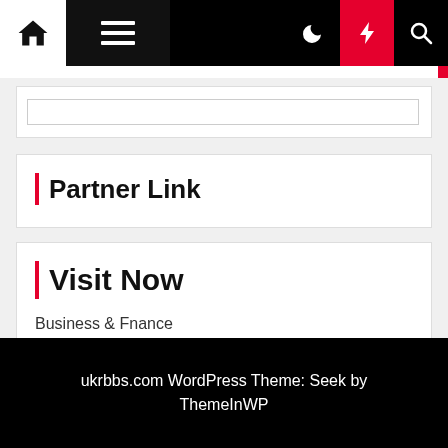[Figure (screenshot): Website navigation bar with home icon, hamburger menu, moon icon, lightning bolt (red background), and search icon]
Partner Link
Visit Now
Business & Fnance
ukrbbs.com WordPress Theme: Seek by ThemeInWP